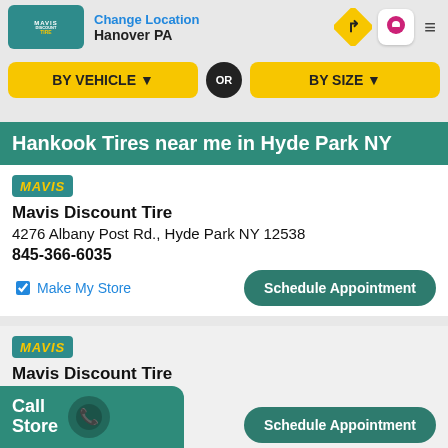Change Location Hanover PA
BY VEHICLE ▼ OR BY SIZE ▼
Hankook Tires near me in Hyde Park NY
[Figure (logo): Mavis Discount Tire logo badge]
Mavis Discount Tire
4276 Albany Post Rd., Hyde Park NY 12538
845-366-6035
Make My Store | Schedule Appointment
[Figure (logo): Mavis Discount Tire logo badge]
Mavis Discount Tire
Poughkeepsie NY 12601
Schedule Appointment
Call Store